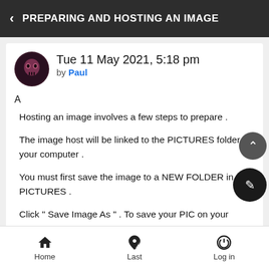< PREPARING AND HOSTING AN IMAGE
Tue 11 May 2021, 5:18 pm
by Paul
A
Hosting an image involves a few steps to prepare .
The image host will be linked to the PICTURES folder on your computer .
You must first save the image to a NEW FOLDER in your PICTURES .
Click " Save Image As " . To save your PIC on your computer .
Home   Last   Log in